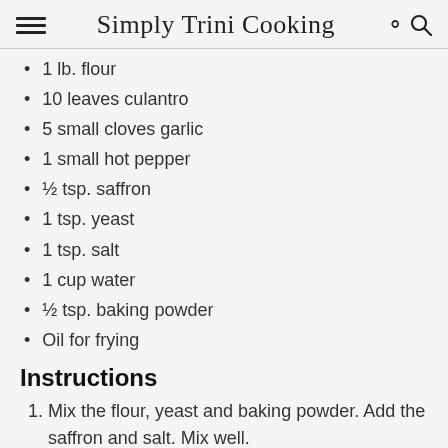Simply Trini Cooking
1 lb. flour
10 leaves culantro
5 small cloves garlic
1 small hot pepper
½ tsp. saffron
1 tsp. yeast
1 tsp. salt
1 cup water
½ tsp. baking powder
Oil for frying
Instructions
Mix the flour, yeast and baking powder. Add the saffron and salt. Mix well.